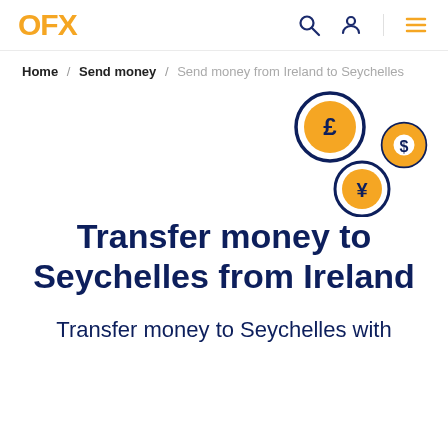OFX
Home / Send money / Send money from Ireland to Seychelles
[Figure (illustration): Three currency coin icons: a large pound sterling coin (£) in dark blue circle, a medium dollar coin ($) in dark blue circle, and a yen coin (¥) in dark blue circle, arranged diagonally on the right side of the page]
Transfer money to Seychelles from Ireland
Transfer money to Seychelles with